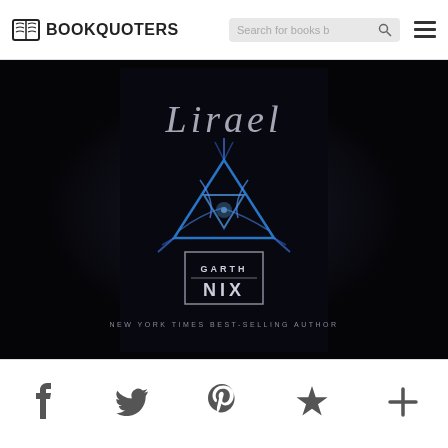BOOKQUOTERS  Search for books b [search] [hamburger menu]
[Figure (photo): Book cover of 'Lirael' by Garth Nix. Dark black background with stylized silver text 'Lirael' at top, glowing blue magical symbol/sigil in the center, author name 'GARTH NIX' in a rectangular border below, and 'NEW YORK TIMES BEST-SELLING AUTHOR' text at the bottom. Published by HarperCollins.]
f  [Twitter bird]  P  ★  +